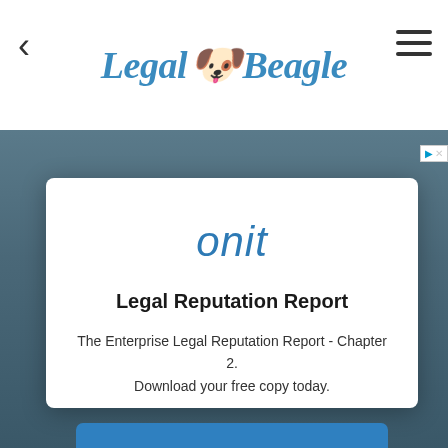Legal Beagle
[Figure (logo): Legal Beagle logo with dog icon between stylized cursive text]
[Figure (screenshot): Advertisement badge in top right corner]
onit
Legal Reputation Report
The Enterprise Legal Reputation Report - Chapter 2. Download your free copy today.
Open